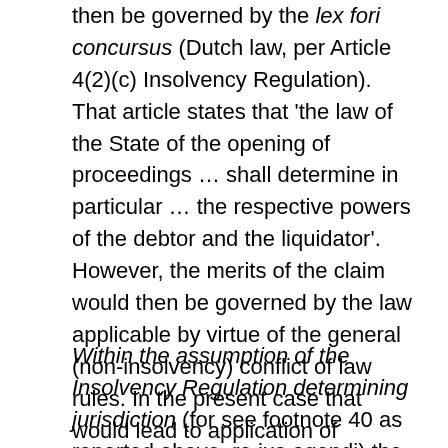then be governed by the lex fori concursus (Dutch law, per Article 4(2)(c) Insolvency Regulation). That article states that 'the law of the State of the opening of proceedings … shall determine in particular … the respective powers of the debtor and the liquidator'. However, the merits of the claim would then be governed by the law applicable by virtue of the general (non-insolvency) conflict of law rules. In the present case that would lead to application of residual Dutch conflict of law rules, because the Rome II Regulation does not apply ratione temporis as the AG further explains. These rules lead to Belgian law being the lex causae.
Within the assumption of the Insolvency Regulation determining jurisdiction (for see footnote 40 as reported above, re ius agendi) the AG emphasises the Regulation's goal of Gleichlauf: at 89: If the Peeters-Gatzen action were covered by the Insolvency Regulation, it then would also be governed...